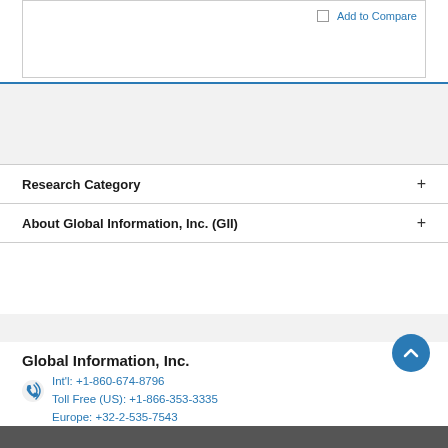Add to Compare
Research Category +
About Global Information, Inc. (GII) +
Global Information, Inc.
Int'l: +1-860-674-8796
Toll Free (US): +1-866-353-3335
Europe: +32-2-535-7543
User Guide
Privacy Policy
Terms and Conditions
Site Map
[Figure (logo): Secured by Sectigo badge]
[Figure (logo): Authorize.Net Verified Merchant badge]
[Figure (logo): American Express card logo]
[Figure (logo): Mastercard logo]
[Figure (logo): Visa card logo]